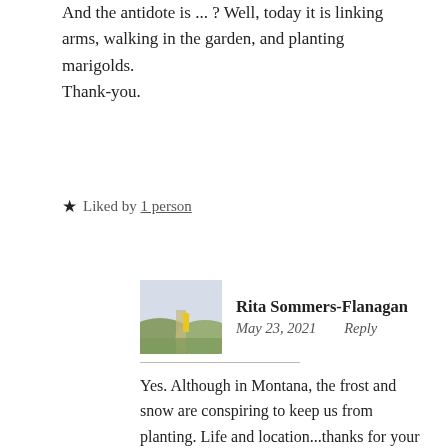And the antidote is ... ? Well, today it is linking arms, walking in the garden, and planting marigolds.
Thank-you.
★ Liked by 1 person
Rita Sommers-Flanagan
May 23, 2021    Reply
Yes. Although in Montana, the frost and snow are conspiring to keep us from planting. Life and location...thanks for your comment.